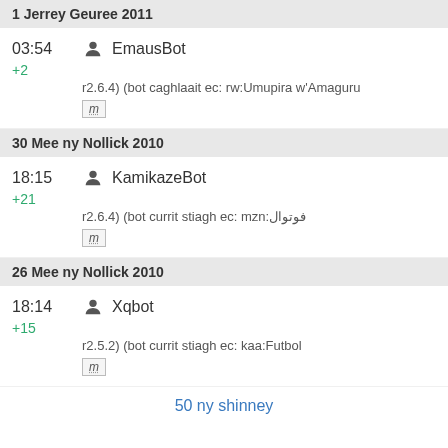1 Jerrey Geuree 2011
03:54  EmausBot
+2
r2.6.4) (bot caghlaait ec: rw:Umupira w'Amaguru
m
30 Mee ny Nollick 2010
18:15  KamikazeBot
+21
r2.6.4) (bot currit stiagh ec: mzn:فوتوال
m
26 Mee ny Nollick 2010
18:14  Xqbot
+15
r2.5.2) (bot currit stiagh ec: kaa:Futbol
m
50 ny shinney